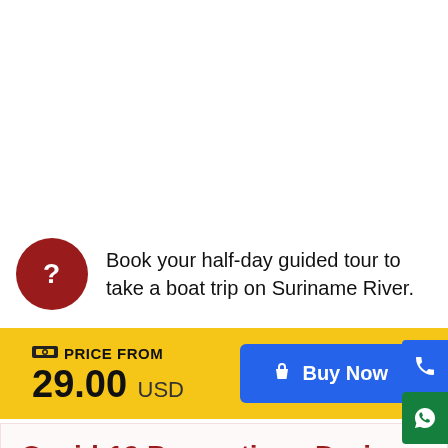Book your half-day guided tour to take a boat trip on Suriname River.
PRICE FROM 29.00 USD
Buy Now
Covid-19 Precautions During Your Travel